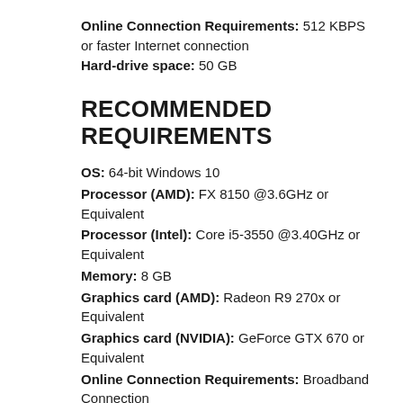Online Connection Requirements: 512 KBPS or faster Internet connection
Hard-drive space: 50 GB
RECOMMENDED REQUIREMENTS
OS: 64-bit Windows 10
Processor (AMD): FX 8150 @3.6GHz or Equivalent
Processor (Intel): Core i5-3550 @3.40GHz or Equivalent
Memory: 8 GB
Graphics card (AMD): Radeon R9 270x or Equivalent
Graphics card (NVIDIA): GeForce GTX 670 or Equivalent
Online Connection Requirements: Broadband Connection
Hard-drive space: 50 GB